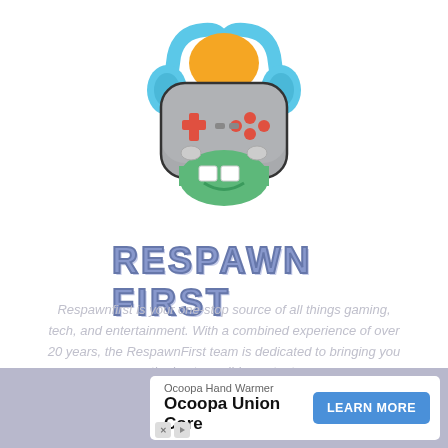[Figure (logo): Respawn First logo: a cartoon game controller with headphones, orange top, blue earcups, gray body with red D-pad and face buttons, green chin area, white teeth, dark outline]
RESPAWN FIRST
Respawnfirst is your one-stop source of all things gaming, tech, and entertainment. With a combined experience of over 20 years, the RespawnFirst team is dedicated to bringing you the best possible content.
Change Ad Consent
[Figure (infographic): Green shield checkmark icon in a gray circle button]
[Figure (other): Advertisement banner: Ocoopa Hand Warmer - Ocoopa Union Core, with LEARN MORE blue button]